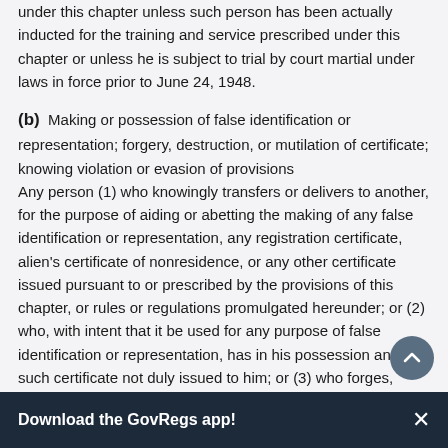under this chapter unless such person has been actually inducted for the training and service prescribed under this chapter or unless he is subject to trial by court martial under laws in force prior to June 24, 1948.
(b) Making or possession of false identification or representation; forgery, destruction, or mutilation of certificate; knowing violation or evasion of provisions
Any person (1) who knowingly transfers or delivers to another, for the purpose of aiding or abetting the making of any false identification or representation, any registration certificate, alien's certificate of nonresidence, or any other certificate issued pursuant to or prescribed by the provisions of this chapter, or rules or regulations promulgated hereunder; or (2) who, with intent that it be used for any purpose of false identification or representation, has in his possession any such certificate not duly issued to him; or (3) who forges, alters, knowingly destroys, knowingly mutilates, or in any manner changes any such certificate or any notation duly and validly inscribed thereon; or (4) who, with intent that it be used for any purpose of false
Download the GovRegs app! ×